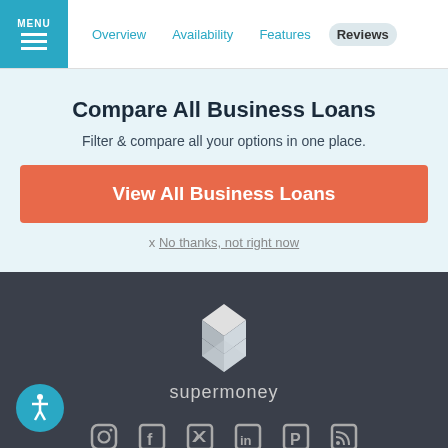MENU | Overview | Availability | Features | Reviews
Compare All Business Loans
Filter & compare all your options in one place.
View All Business Loans
x No thanks, not right now
[Figure (logo): SuperMoney 3D geometric logo mark (white faceted S shape) above the word supermoney in light gray]
[Figure (infographic): Row of 6 social media icons: Instagram, Facebook, Twitter, LinkedIn, Pinterest, RSS feed — all in gray]
Terms of Site